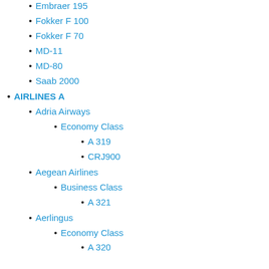Embraer 195
Fokker F 100
Fokker F 70
MD-11
MD-80
Saab 2000
AIRLINES A
Adria Airways
Economy Class
A 319
CRJ900
Aegean Airlines
Business Class
A 321
Aerlingus
Economy Class
A 320